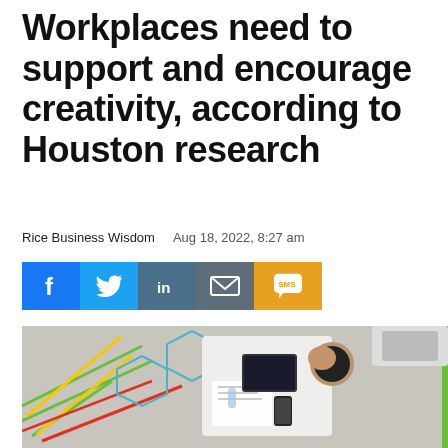Workplaces need to support and encourage creativity, according to Houston research
Rice Business Wisdom   Aug 18, 2022, 8:27 am
[Figure (infographic): Social sharing buttons: Facebook (blue), Twitter (blue), LinkedIn (dark blue-grey), Email (grey), SMS (orange)]
[Figure (photo): Aerial/overhead view of a creative office workspace with colorful geometric lines painted on the floor. A person is seated at a white desk working with papers and a laptop, viewed from above.]